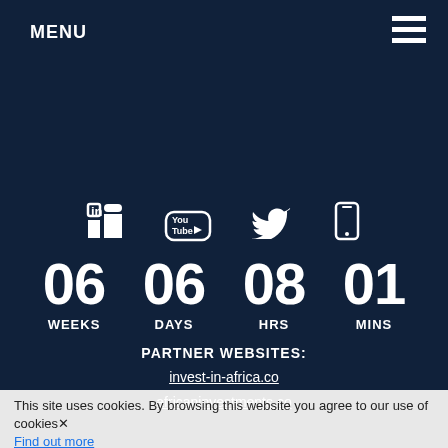MENU
[Figure (infographic): Social media icons row: LinkedIn, YouTube, Twitter, and a mobile/phone icon, white on dark navy background]
06 WEEKS  06 DAYS  08 HRS  01 MINS
PARTNER WEBSITES:
invest-in-africa.co
africaninvestments.co
This site uses cookies. By browsing this website you agree to our use of cookies. Find out more